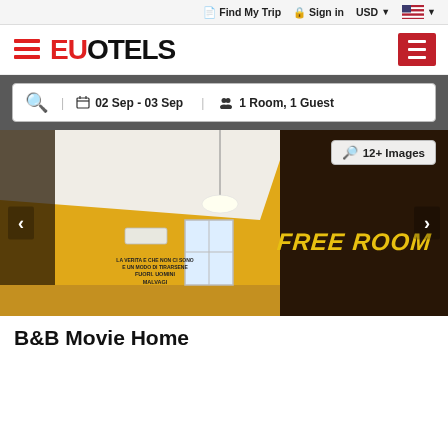Find My Trip   Sign in   USD   [US flag]
[Figure (logo): EUOTELS logo with stacked lines icon in red and hamburger menu button in red]
02 Sep - 03 Sep   1 Room, 1 Guest
[Figure (photo): Hotel room interior with yellow walls, white ceiling, window, air conditioning unit, wall text, and dark brown wall with FREE ROOM text in yellow. Shows 12+ Images button.]
B&B Movie Home